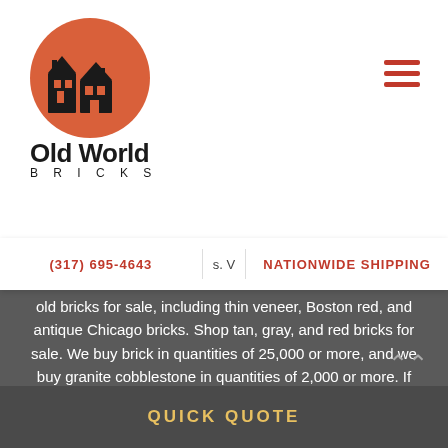[Figure (logo): Old World Bricks logo with house/building icon in orange circle, text 'Old World BRICKS']
(317) 695-4643   NATIONWIDE SHIPPING
old bricks for sale, including thin veneer, Boston red, and antique Chicago bricks. Shop tan, gray, and red bricks for sale. We buy brick in quantities of 25,000 or more, and we buy granite cobblestone in quantities of 2,000 or more. If you're located in the Indianapolis area, there's no minimum to the number of bricks we'll buy. Whether you need to get rid of brick from your home or a construction site, or to purchase new pavers for a home improvement project, Old World Bricks is your antique brick destination. Browse our collection of clinkers, cobblestone, and old red bricks for sale today.
QUICK QUOTE